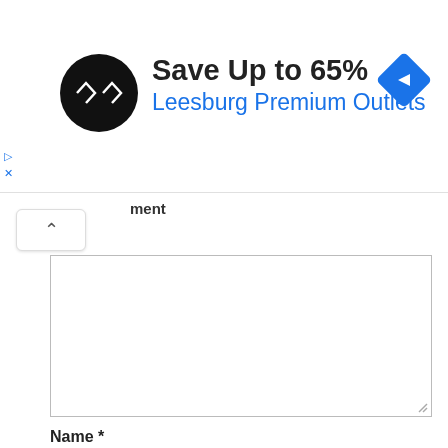[Figure (screenshot): Advertisement banner: black circular logo with double infinity/arrow icon, text 'Save Up to 65%' in bold dark, 'Leesburg Premium Outlets' in blue, blue diamond navigation icon on right. Small play and X icons on far left.]
ment
^
Name *